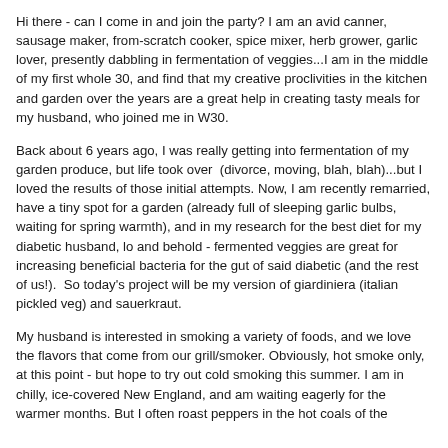Hi there - can I come in and join the party? I am an avid canner, sausage maker, from-scratch cooker, spice mixer, herb grower, garlic lover, presently dabbling in fermentation of veggies...I am in the middle of my first whole 30, and find that my creative proclivities in the kitchen and garden over the years are a great help in creating tasty meals for my husband, who joined me in W30.
Back about 6 years ago, I was really getting into fermentation of my garden produce, but life took over (divorce, moving, blah, blah)...but I loved the results of those initial attempts. Now, I am recently remarried, have a tiny spot for a garden (already full of sleeping garlic bulbs, waiting for spring warmth), and in my research for the best diet for my diabetic husband, lo and behold - fermented veggies are great for increasing beneficial bacteria for the gut of said diabetic (and the rest of us!). So today's project will be my version of giardiniera (italian pickled veg) and sauerkraut.
My husband is interested in smoking a variety of foods, and we love the flavors that come from our grill/smoker. Obviously, hot smoke only, at this point - but hope to try out cold smoking this summer. I am in chilly, ice-covered New England, and am waiting eagerly for the warmer months. But I often roast peppers in the hot coals of the